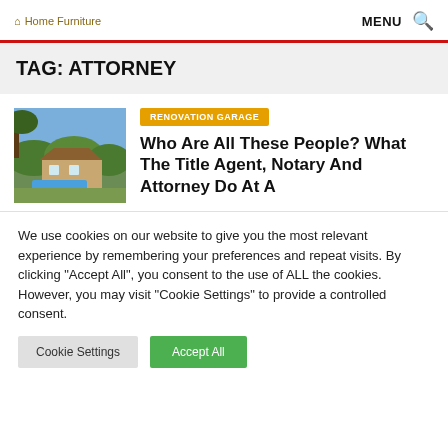Home Furniture   MENU 🔍
TAG: ATTORNEY
[Figure (photo): Outdoor patio/house with pool surrounded by trees and greenery]
RENOVATION GARAGE
Who Are All These People? What The Title Agent, Notary And Attorney Do At A
We use cookies on our website to give you the most relevant experience by remembering your preferences and repeat visits. By clicking "Accept All", you consent to the use of ALL the cookies. However, you may visit "Cookie Settings" to provide a controlled consent.